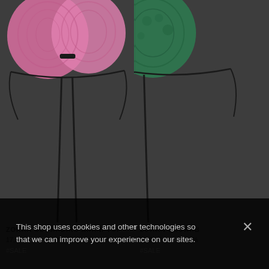[Figure (illustration): Pink bikini top (Zoran Sugarbird style) with tied straps, partially cropped at top, shown against dark grey background]
[Figure (illustration): Green bikini top (Zoran Sugarbird style) partially visible on right side, cropped]
ZORAN SUGARBIRD BIKINI TOP
17,01€  56,69€  70% OFF!
#SALE
ZORAN SUGARB...
17,01€  56,69€  70%...
#SALE
This shop uses cookies and other technologies so that we can improve your experience on our sites.